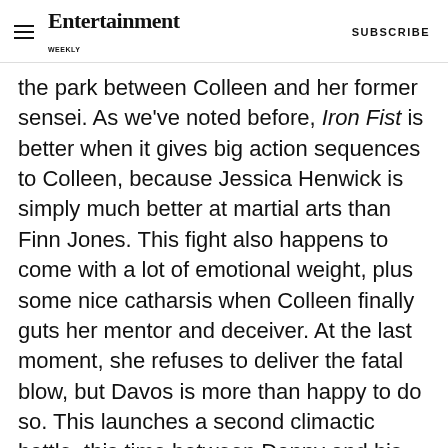Entertainment Weekly — SUBSCRIBE
the park between Colleen and her former sensei. As we've noted before, Iron Fist is better when it gives big action sequences to Colleen, because Jessica Henwick is simply much better at martial arts than Finn Jones. This fight also happens to come with a lot of emotional weight, plus some nice catharsis when Colleen finally guts her mentor and deceiver. At the last moment, she refuses to deliver the fatal blow, but Davos is more than happy to do so. This launches a second climactic battle, this time between Danny and his one-time best friend.
ADVERTISEMENT